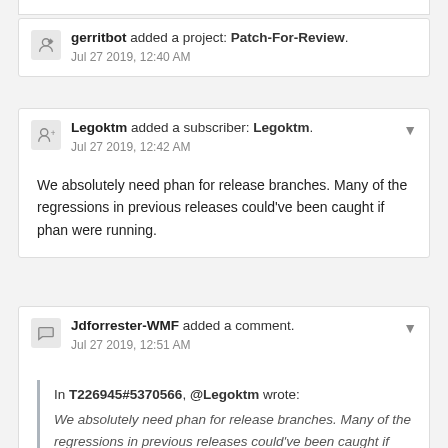gerritbot added a project: Patch-For-Review. Jul 27 2019, 12:40 AM
Legoktm added a subscriber: Legoktm. Jul 27 2019, 12:42 AM
We absolutely need phan for release branches. Many of the regressions in previous releases could've been caught if phan were running.
Jdforrester-WMF added a comment. Jul 27 2019, 12:51 AM
In T226945#5370566, @Legoktm wrote: We absolutely need phan for release branches. Many of the regressions in previous releases could've been caught if phan were running.
People pushing commits directly into legacy release branches, rather